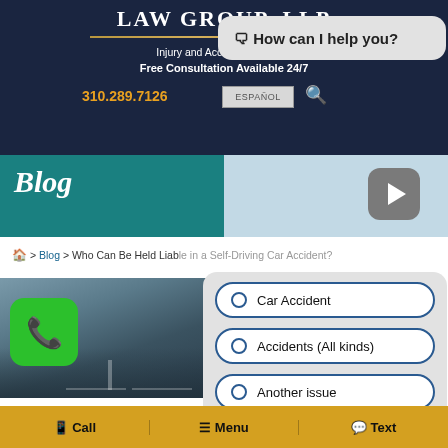LAW GROUP, LLP
Injury and Accident Attorneys
Free Consultation Available 24/7
310.289.7126
ESPAÑOL
🗨 How can I help you?
Blog
🏠 > Blog > Who Can Be Held Liable in a Self-Driving Car Accident?
[Figure (screenshot): Green phone call button icon]
[Figure (photo): Highway road photo background]
Car Accident
Accidents (All kinds)
Another issue
📱 Call | ☰ Menu | 💬 Text